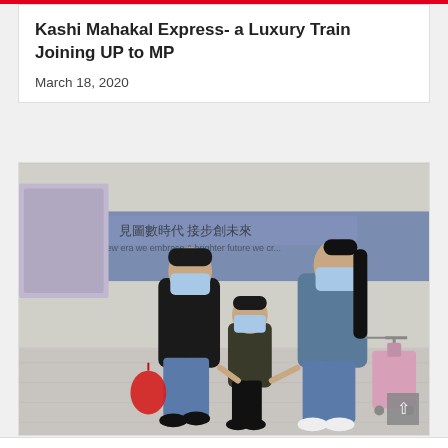Kashi Mahakal Express- a Luxury Train Joining UP to MP
March 18, 2020
[Figure (photo): Three people wearing blue surgical face masks walking indoors, likely at a train station or airport. On the left is a boy in a black puffer jacket and jeans carrying a red plastic bag. In the middle is a small child in a dark jacket and black pants. On the right is a woman in a blue jacket pulling a pink suitcase with luggage wheels. In the background is a banner with Chinese text.]